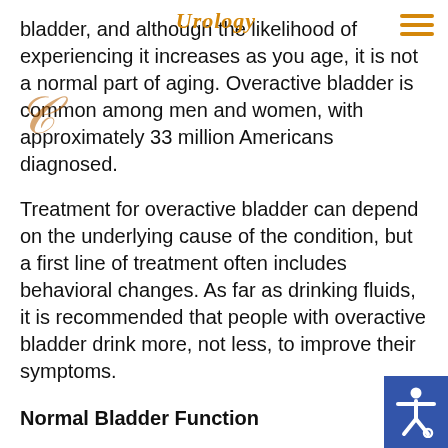Urology
bladder, and although the likelihood of experiencing it increases as you age, it is not a normal part of aging. Overactive bladder is common among men and women, with approximately 33 million Americans diagnosed.
Treatment for overactive bladder can depend on the underlying cause of the condition, but a first line of treatment often includes behavioral changes. As far as drinking fluids, it is recommended that people with overactive bladder drink more, not less, to improve their symptoms.
Normal Bladder Function
In normal urination, nerves in the bladder signal the brain when the bladder is full and needs to be emptied. The pelvic floor muscles that are usually tightened relax, and the muscles of the bladder